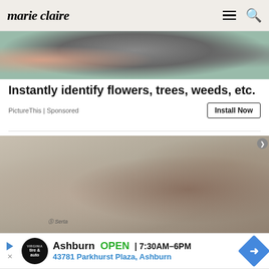marie claire
[Figure (photo): Cropped advertisement image showing a hand holding plants/flowers outdoors]
Instantly identify flowers, trees, weeds, etc.
PictureThis | Sponsored
Install Now
[Figure (photo): Woman lying on a Serta mattress in a bedroom setting, advertisement for mattress brand]
[Figure (infographic): Virginia Tire & Auto advertisement showing Ashburn location: OPEN 7:30AM-6PM, 43781 Parkhurst Plaza, Ashburn]